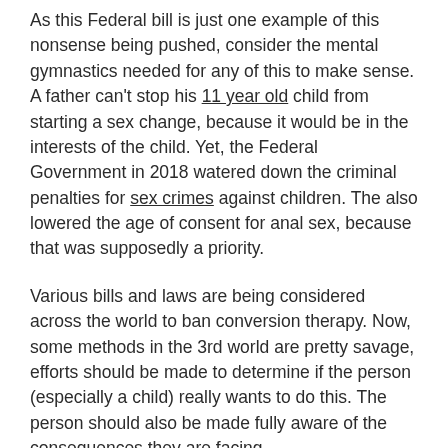As this Federal bill is just one example of this nonsense being pushed, consider the mental gymnastics needed for any of this to make sense. A father can't stop his 11 year old child from starting a sex change, because it would be in the interests of the child. Yet, the Federal Government in 2018 watered down the criminal penalties for sex crimes against children. The also lowered the age of consent for anal sex, because that was supposedly a priority.
Various bills and laws are being considered across the world to ban conversion therapy. Now, some methods in the 3rd world are pretty savage, efforts should be made to determine if the person (especially a child) really wants to do this. The person should also be made fully aware of the consequences they are facing.
In 2019, the CBC wrote about the proposed ban, mentioning health risks depending on the type of...